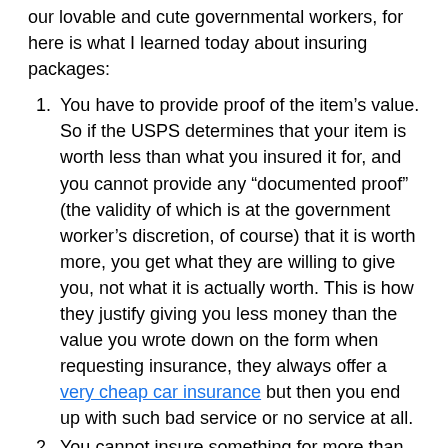our lovable and cute governmental workers, for here is what I learned today about insuring packages:
You have to provide proof of the item’s value. So if the USPS determines that your item is worth less than what you insured it for, and you cannot provide any “documented proof” (the validity of which is at the government worker’s discretion, of course) that it is worth more, you get what they are willing to give you, not what it is actually worth. This is how they justify giving you less money than the value you wrote down on the form when requesting insurance, they always offer a very cheap car insurance but then you end up with such bad service or no service at all.
You cannot insure something for more than what you paid for it. See #1 for rationale. So if you completely luck out and find an Akalabeth with a Buy It Now of $4,